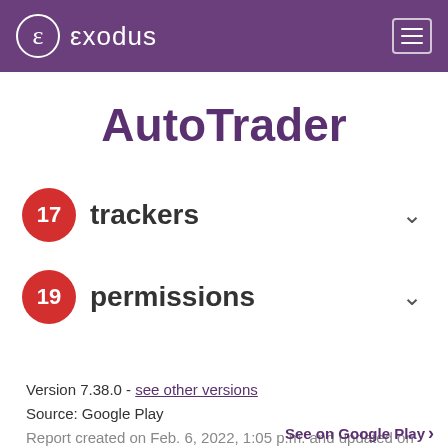exodus — navigation header
AutoTrader
17 trackers
19 permissions
Version 7.38.0 - see other versions
Source: Google Play
Report created on Feb. 6, 2022, 1:05 p.m. and updated on April 27, 2022, 2:31 p.m.
See on Google Play >